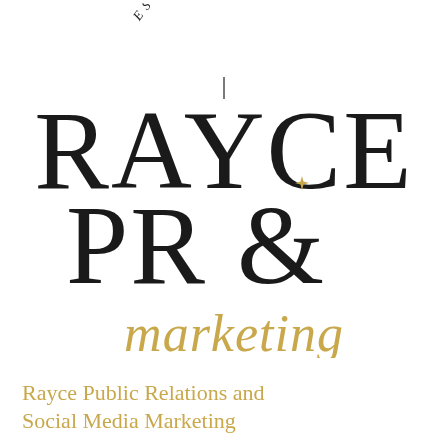[Figure (logo): Rayce PR & Marketing logo with 'EST 2009' arched text at top, large serif 'RAYCE' and 'PR &' text in black, a gold four-pointed star accent, and 'marketing' in gold cursive script below]
Rayce Public Relations and Social Media Marketing